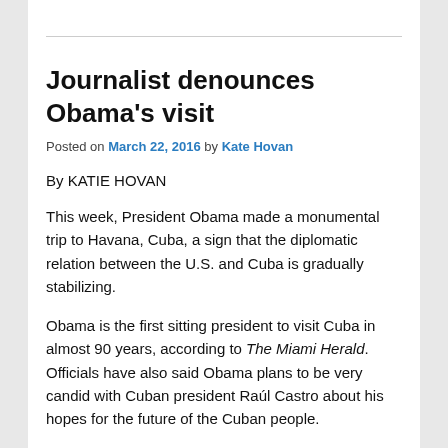Journalist denounces Obama's visit
Posted on March 22, 2016 by Kate Hovan
By KATIE HOVAN
This week, President Obama made a monumental trip to Havana, Cuba, a sign that the diplomatic relation between the U.S. and Cuba is gradually stabilizing.
Obama is the first sitting president to visit Cuba in almost 90 years, according to The Miami Herald. Officials have also said Obama plans to be very candid with Cuban president Raúl Castro about his hopes for the future of the Cuban people.
In a further effort to improve relations, the Tampa Bay